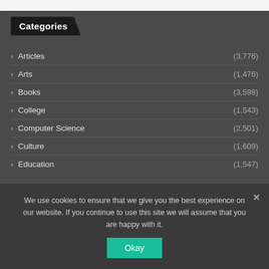Categories
Articles (3,776)
Arts (1,476)
Books (3,598)
College (1,543)
Computer Science (2,501)
Culture (1,609)
Education (1,547)
We use cookies to ensure that we give you the best experience on our website. If you continue to use this site we will assume that you are happy with it.
Okay